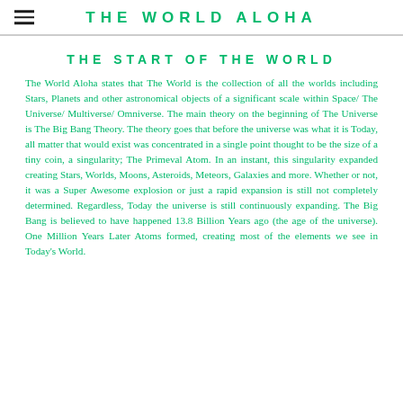THE WORLD ALOHA
THE START OF THE WORLD
The World Aloha states that The World is the collection of all the worlds including Stars, Planets and other astronomical objects of a significant scale within Space/ The Universe/ Multiverse/ Omniverse. The main theory on the beginning of The Universe is The Big Bang Theory. The theory goes that before the universe was what it is Today, all matter that would exist was concentrated in a single point thought to be the size of a tiny coin, a singularity; The Primeval Atom. In an instant, this singularity expanded creating Stars, Worlds, Moons, Asteroids, Meteors, Galaxies and more. Whether or not, it was a Super Awesome explosion or just a rapid expansion is still not completely determined. Regardless, Today the universe is still continuously expanding. The Big Bang is believed to have happened 13.8 Billion Years ago (the age of the universe). One Million Years Later Atoms formed, creating most of the elements we see in Today's World.